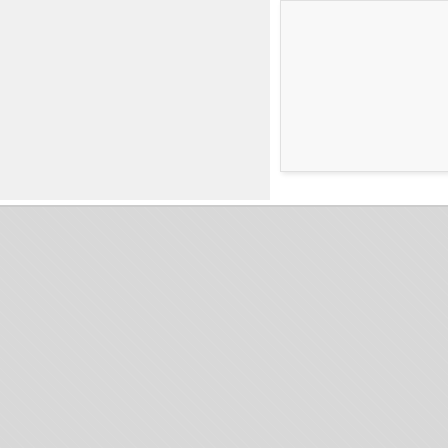CONTACT DETAILS
Hybrid SA
Combamare 19
CH-2025 Chez-le-Bart
Tel ++41 32 835 33 88
mailbox@hybrid.swiss
QUALITY
[Figure (logo): IQNet Certified Management System circular badge/seal in dark blue]